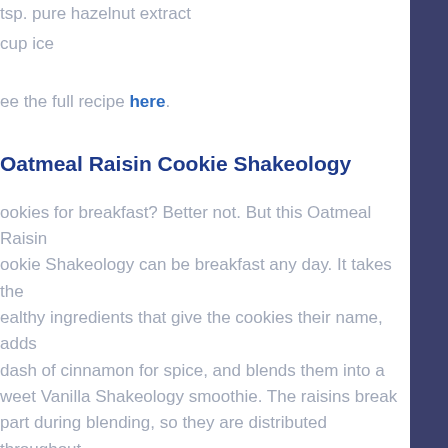tsp. pure hazelnut extract
cup ice
See the full recipe here.
Oatmeal Raisin Cookie Shakeology
Cookies for breakfast? Better not. But this Oatmeal Raisin Cookie Shakeology can be breakfast any day. It takes the healthy ingredients that give the cookies their name, adds a dash of cinnamon for spice, and blends them into a sweet Vanilla Shakeology smoothie. The raisins break apart during blending, so they are distributed throughout the shake, adding raisin flavor to every sip. You could also swap the raisins for unsweetened dried cranberries